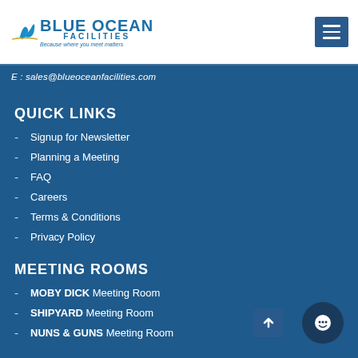[Figure (logo): Blue Ocean Facilities logo with whale tail icon, tagline 'Because where you meet matters']
E : sales@blueoceanfacilities.com
QUICK LINKS
- Signup for Newsletter
- Planning a Meeting
- FAQ
- Careers
- Terms & Conditions
- Privacy Policy
MEETING ROOMS
- MOBY DICK Meeting Room
- SHIPYARD Meeting Room
- NUNS & GUNS Meeting Room